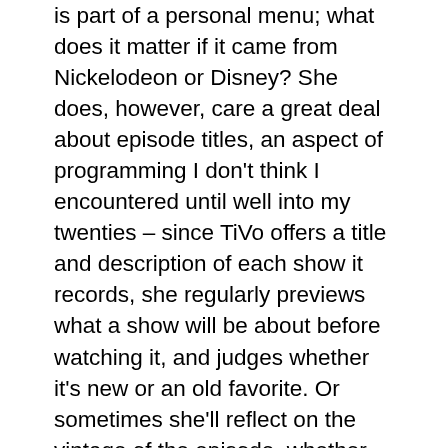is part of a personal menu; what does it matter if it came from Nickelodeon or Disney? She does, however, care a great deal about episode titles, an aspect of programming I don't think I encountered until well into my twenties – since TiVo offers a title and description of each show it records, she regularly previews what a show will be about before watching it, and judges whether it's new or an old favorite. Or sometimes she'll reflect on the vintage of the episode, whether it's a Steve or Joe Blue's Clues, a Dora the Explorer with or without Diego. Clearly this is a different mode of consumption then my memories of flipping on the TV to see what cartoons were on.
Recently we had a family meeting to discuss revamping TiVo's Season Passes for their daily diet of TV. Media literacy proponents talk about making media consumption a conscious and active process–what could be more active than a 5 and 2-year-old discussing